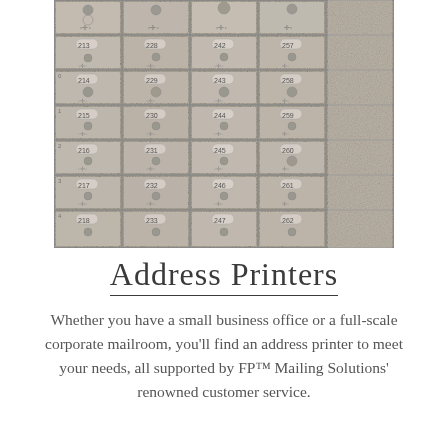[Figure (photo): Black and white photo of a wall of numbered post office boxes/mailboxes with combination locks. Box numbers visible include 213, 228, 242, 257, 214, 229, 243, 258, 215, 230, 244, 259, 216, 231, 245, 260, 217, 232, 246, 261, 218, 233, 247, 262 and partial others.]
Address Printers
Whether you have a small business office or a full-scale corporate mailroom, you'll find an address printer to meet your needs, all supported by FP™ Mailing Solutions' renowned customer service.